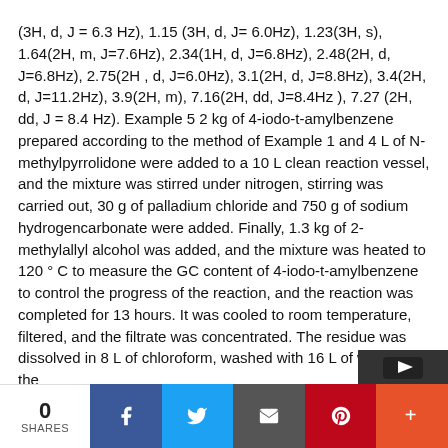(3H, d, J = 6.3 Hz), 1.15 (3H, d, J= 6.0Hz), 1.23(3H, s), 1.64(2H, m, J=7.6Hz), 2.34(1H, d, J=6.8Hz), 2.48(2H, d, J=6.8Hz), 2.75(2H , d, J=6.0Hz), 3.1(2H, d, J=8.8Hz), 3.4(2H, d, J=11.2Hz), 3.9(2H, m), 7.16(2H, dd, J=8.4Hz ), 7.27 (2H, dd, J = 8.4 Hz). Example 5
2 kg of 4-iodo-t-amylbenzene prepared according to the method of Example 1 and 4 L of N-methylpyrrolidone were added to a 10 L clean reaction vessel, and the mixture was stirred under nitrogen, stirring was carried out, 30 g of palladium chloride and 750 g of sodium hydrogencarbonate were added. Finally, 1.3 kg of 2-methylallyl alcohol was added, and the mixture was heated to 120 ° C to measure the GC content of 4-iodo-t-amylbenzene to control the progress of the reaction, and the reaction was completed for 13 hours. It was cooled to room temperature, filtered, and the filtrate was concentrated. The residue was dissolved in 8 L of chloroform, washed with 16 L of water, and the
0 SHARES